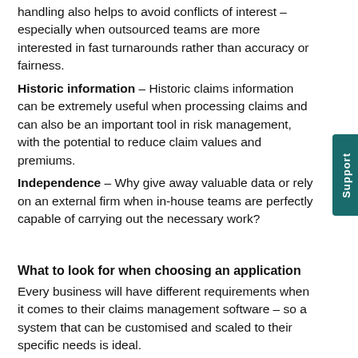handling also helps to avoid conflicts of interest – especially when outsourced teams are more interested in fast turnarounds rather than accuracy or fairness.
Historic information – Historic claims information can be extremely useful when processing claims and can also be an important tool in risk management, with the potential to reduce claim values and premiums.
Independence – Why give away valuable data or rely on an external firm when in-house teams are perfectly capable of carrying out the necessary work?
What to look for when choosing an application
Every business will have different requirements when it comes to their claims management software – so a system that can be customised and scaled to their specific needs is ideal.
One of the most important aspects of a claims management system is its reporting and analysis tools, enabling you to generate underwriting reports, loss control and risk management reports, best value reports and workflow and task analysis reports. With JCAD LACHS, all reports include visual